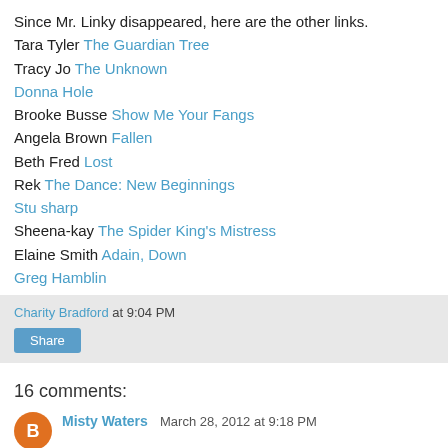Since Mr. Linky disappeared, here are the other links.
Tara Tyler The Guardian Tree
Tracy Jo The Unknown
Donna Hole
Brooke Busse Show Me Your Fangs
Angela Brown Fallen
Beth Fred Lost
Rek The Dance: New Beginnings
Stu sharp
Sheena-kay The Spider King's Mistress
Elaine Smith Adain, Down
Greg Hamblin
Charity Bradford at 9:04 PM
Share
16 comments:
Misty Waters March 28, 2012 at 9:18 PM